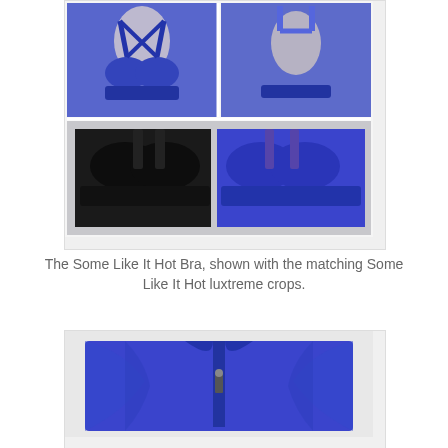[Figure (photo): Composite photo showing a blue sports bra from front view (top-left), back view (top-right), and two sports bras laid flat — one black and one blue/purple — side by side (bottom row). White background with border.]
The Some Like It Hot Bra, shown with the matching Some Like It Hot luxtreme crops.
[Figure (photo): Close-up photo of a blue/purple athletic jacket or top, folded, showing the back with a visible zipper pull. Bright cobalt/royal blue color.]